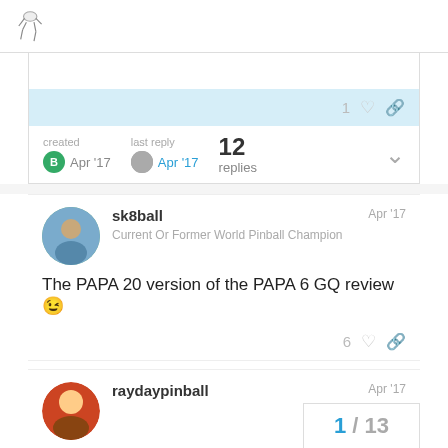[Forum logo/icon]
created Apr '17  |  last reply Apr '17  |  12 replies
sk8ball  Apr '17
Current Or Former World Pinball Champion
The PAPA 20 version of the PAPA 6 GQ review 😉
raydaypinball  Apr '17
1 / 13